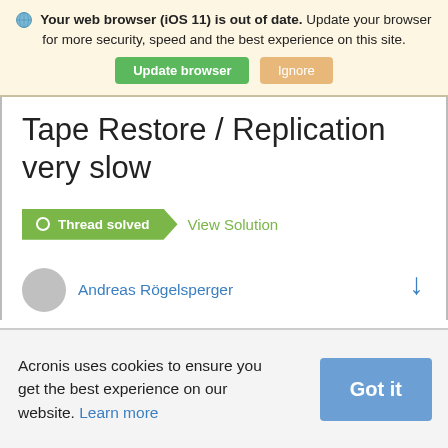Your web browser (iOS 11) is out of date. Update your browser for more security, speed and the best experience on this site.
Update browser | Ignore
Tape Restore / Replication very slow
Thread solved | View Solution
Andreas Rögelsperger
Acronis uses cookies to ensure you get the best experience on our website. Learn more